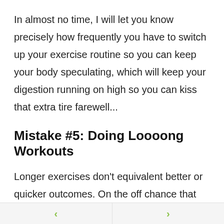In almost no time, I will let you know precisely how frequently you have to switch up your exercise routine so you can keep your body speculating, which will keep your digestion running on high so you can kiss that extra tire farewell...
Mistake #5: Doing Loooong Workouts
Longer exercises don't equivalent better or quicker outcomes. On the off chance that you've been slaving without end at the exercise center and your body isn't noticeably transforming, you can't
< >